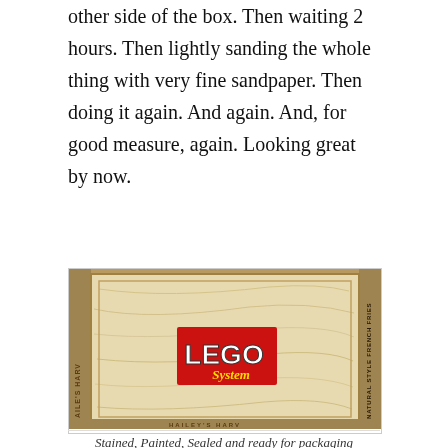other side of the box. Then waiting 2 hours. Then lightly sanding the whole thing with very fine sandpaper. Then doing it again. And again. And, for good measure, again. Looking great by now.
[Figure (photo): A wooden box with a LEGO System logo sticker on the front, surrounded by cardboard packaging with text including 'NATURAL STYLE FRENCH FRIES' visible on the side.]
Stained, Painted, Sealed and ready for packaging